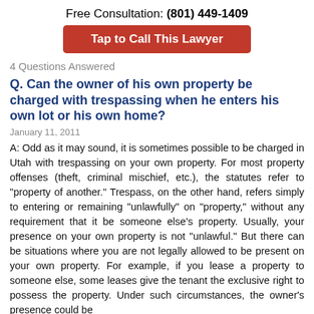Free Consultation: (801) 449-1409
[Figure (other): Red button: Tap to Call This Lawyer]
4 Questions Answered
Q. Can the owner of his own property be charged with trespassing when he enters his own lot or his own home?
January 11, 2011
A: Odd as it may sound, it is sometimes possible to be charged in Utah with trespassing on your own property. For most property offenses (theft, criminal mischief, etc.), the statutes refer to "property of another." Trespass, on the other hand, refers simply to entering or remaining "unlawfully" on "property," without any requirement that it be someone else's property. Usually, your presence on your own property is not "unlawful." But there can be situations where you are not legally allowed to be present on your own property. For example, if you lease a property to someone else, some leases give the tenant the exclusive right to possess the property. Under such circumstances, the owner's presence could be